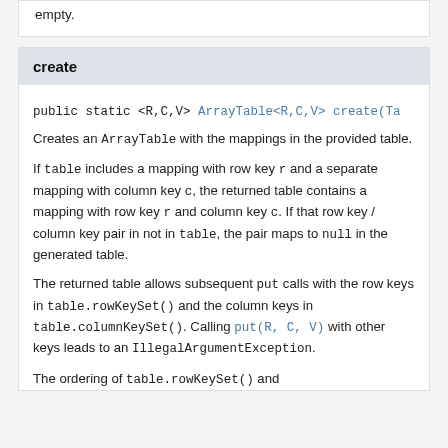empty.
create
public static <R,C,V> ArrayTable<R,C,V> create(Ta
Creates an ArrayTable with the mappings in the provided table.
If table includes a mapping with row key r and a separate mapping with column key c, the returned table contains a mapping with row key r and column key c. If that row key / column key pair in not in table, the pair maps to null in the generated table.
The returned table allows subsequent put calls with the row keys in table.rowKeySet() and the column keys in table.columnKeySet(). Calling put(R, C, V) with other keys leads to an IllegalArgumentException.
The ordering of table.rowKeySet() and